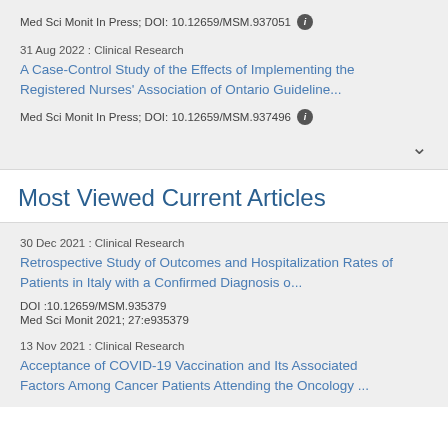Med Sci Monit In Press; DOI: 10.12659/MSM.937051
31 Aug 2022 : Clinical Research
A Case-Control Study of the Effects of Implementing the Registered Nurses' Association of Ontario Guideline...
Med Sci Monit In Press; DOI: 10.12659/MSM.937496
Most Viewed Current Articles
30 Dec 2021 : Clinical Research
Retrospective Study of Outcomes and Hospitalization Rates of Patients in Italy with a Confirmed Diagnosis o...
DOI :10.12659/MSM.935379
Med Sci Monit 2021; 27:e935379
13 Nov 2021 : Clinical Research
Acceptance of COVID-19 Vaccination and Its Associated Factors Among Cancer Patients Attending the Oncology ...